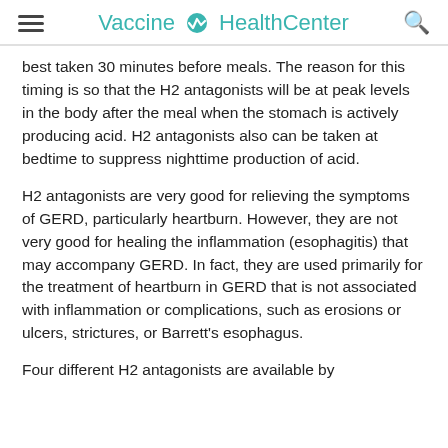Vaccine HealthCenter
best taken 30 minutes before meals. The reason for this timing is so that the H2 antagonists will be at peak levels in the body after the meal when the stomach is actively producing acid. H2 antagonists also can be taken at bedtime to suppress nighttime production of acid.
H2 antagonists are very good for relieving the symptoms of GERD, particularly heartburn. However, they are not very good for healing the inflammation (esophagitis) that may accompany GERD. In fact, they are used primarily for the treatment of heartburn in GERD that is not associated with inflammation or complications, such as erosions or ulcers, strictures, or Barrett's esophagus.
Four different H2 antagonists are available by prescription, including cimetidine (Tagamet),